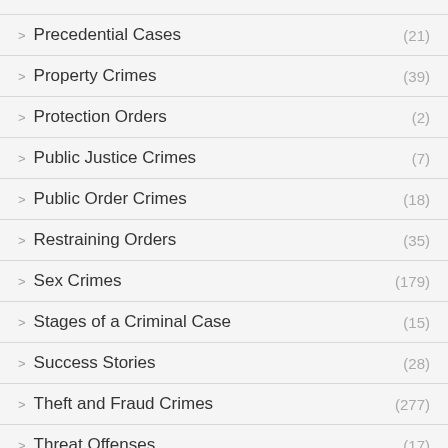Precedential Cases (21)
Property Crimes (39)
Protection Orders (2)
Public Justice Crimes (7)
Public Order Crimes (18)
Restraining Orders (35)
Sex Crimes (179)
Stages of a Criminal Case (15)
Success Stories (28)
Theft and Fraud Crimes (277)
Threat Offenses (17)